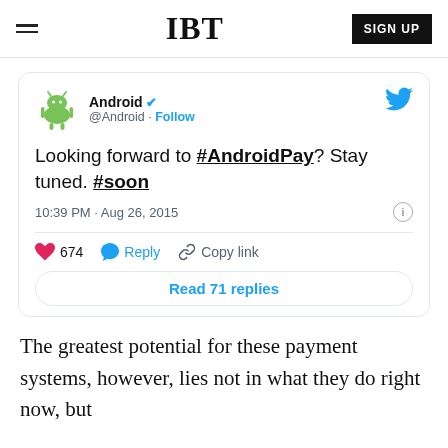IBT | SIGN UP
[Figure (screenshot): Embedded tweet from @Android account: 'Looking forward to #AndroidPay? Stay tuned. #soon' — 10:39 PM · Aug 26, 2015, 674 likes, Reply, Copy link, Read 71 replies]
The greatest potential for these payment systems, however, lies not in what they do right now, but